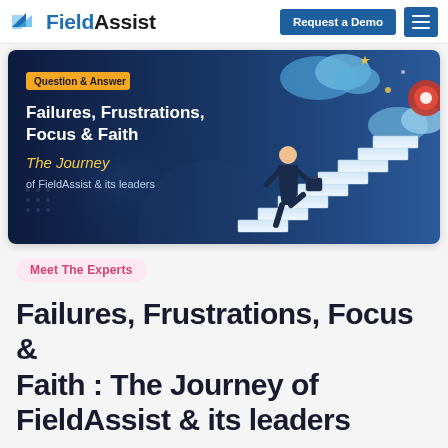FieldAssist — Request a Demo
[Figure (illustration): Banner image with dark blue background showing a businessman climbing stairs toward goals, with clouds, stars and a target. Left side text: 'Question & Answer' tag, 'Failures, Frustrations, Focus & Faith' bold heading, 'The Journey of FieldAssist & its leaders' subtitle in gold.]
Meet The Experts
Failures, Frustrations, Focus & Faith : The Journey of FieldAssist & its leaders